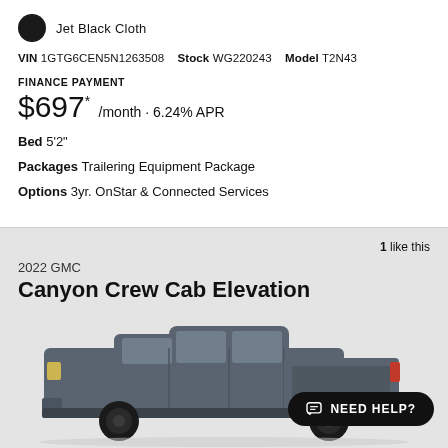Jet Black Cloth
VIN 1GTG6CEN5N1263508  Stock WG220243  Model T2N43
FINANCE PAYMENT
$697* /month · 6.24% APR
Bed 5'2"
Packages Trailering Equipment Package
Options 3yr. OnStar & Connected Services
1 like this
2022 GMC Canyon Crew Cab Elevation
[Figure (photo): Side profile of a dark gray 2022 GMC Canyon Crew Cab pickup truck]
NEED HELP?